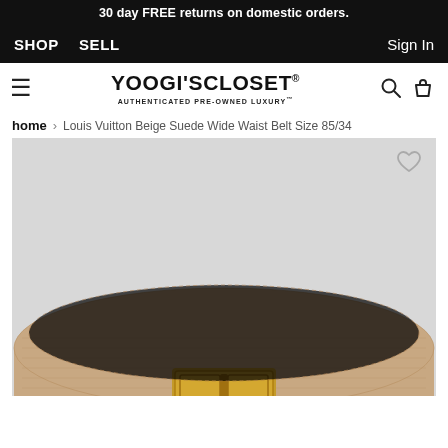30 day FREE returns on domestic orders.
SHOP   SELL   Sign In
[Figure (logo): Yoogi's Closet logo with hamburger menu, search and bag icons. Text: YOOGI'S CLOSET® AUTHENTICATED PRE-OWNED LUXURY™]
home > Louis Vuitton Beige Suede Wide Waist Belt Size 85/34
[Figure (photo): Louis Vuitton Beige Suede Wide Waist Belt product photo on light gray background, showing the top portion of the belt with gold buckle hardware. A heart/wishlist icon appears in the upper right corner.]